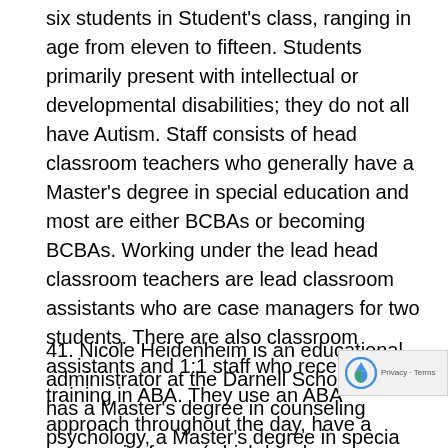six students in Student's class, ranging in age from eleven to fifteen. Students primarily present with intellectual or developmental disabilities; they do not all have Autism. Staff consists of head classroom teachers who generally have a Master's degree in special education and most are either BCBAs or becoming BCBAs. Working under the lead head classroom teachers are lead classroom assistants who are case managers for two students. There are also classroom assistants and 1:1 staff who receive training in ABA. They use an ABA approach throughout the day, have a community focus (which has been impacted by COVID), and a vocational focus when students turn fourteen. (Heidenheim)
41. Nicole Heidenheim is an educational administrator at the Darnell School. She has a Master's degree in counseling psychology, a Master's degree in special education, severe disabilities, an Ed.S. in Special